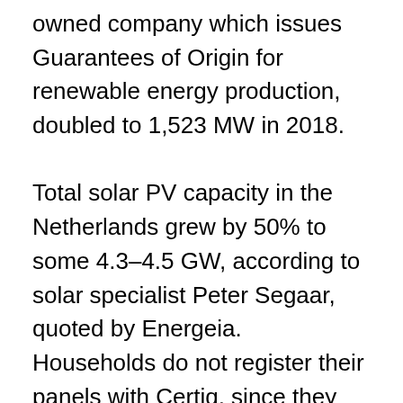owned company which issues Guarantees of Origin for renewable energy production, doubled to 1,523 MW in 2018.

Total solar PV capacity in the Netherlands grew by 50% to some 4.3–4.5 GW, according to solar specialist Peter Segaar, quoted by Energeia. Households do not register their panels with Certiq, since they have no interest in acquiring Guarantees of Origin. Residential solar PV rose from approximately 2 to 3 GW, Segaar estimates. He notes that the share of large-scale projects in the Dutch market grew from around a quarter to around a third in 2018.